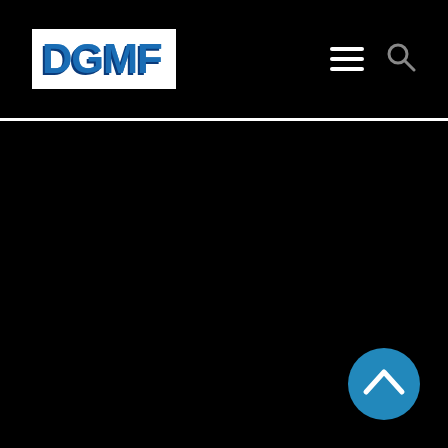DGMF
[Figure (screenshot): DGMF website header with logo on black background, hamburger menu icon and search icon on the right. Below is a large black content area with a blue circular back-to-top button with a chevron arrow in the bottom right corner.]